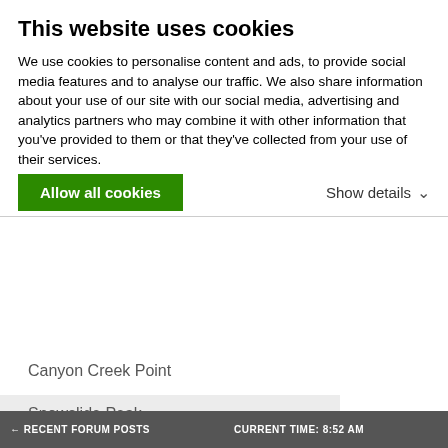This website uses cookies
We use cookies to personalise content and ads, to provide social media features and to analyse our traffic. We also share information about your use of our site with our social media, advertising and analytics partners who may combine it with other information that you've provided to them or that they've collected from your use of their services.
Allow all cookies
Show details
Canyon Creek Point
Snowslide Peak
Jughandle Mountain
Twin Peaks
Slick Rock
RECENT FORUM POSTS   CURRENT TIME: 8:52 AM